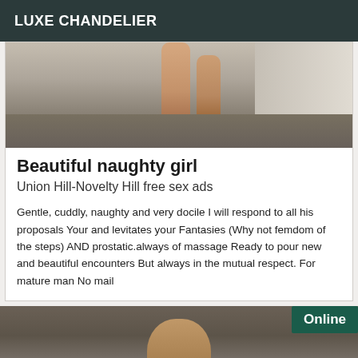LUXE CHANDELIER
[Figure (photo): Photo showing legs of a person on a carpeted floor near a wall, with pink shoes visible at the bottom]
Beautiful naughty girl
Union Hill-Novelty Hill free sex ads
Gentle, cuddly, naughty and very docile I will respond to all his proposals Your and levitates your Fantasies (Why not femdom of the steps) AND prostatic.always of massage Ready to pour new and beautiful encounters But always in the mutual respect. For mature man No mail
[Figure (photo): Photo showing head/hair of a person, with an 'Online' badge in the top right corner]